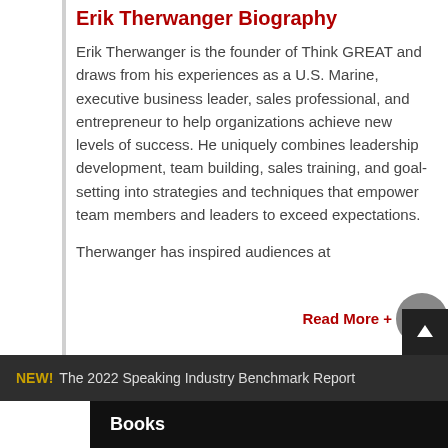Erik Therwanger Biography
Erik Therwanger is the founder of Think GREAT and draws from his experiences as a U.S. Marine, executive business leader, sales professional, and entrepreneur to help organizations achieve new levels of success. He uniquely combines leadership development, team building, sales training, and goal-setting into strategies and techniques that empower team members and leaders to exceed expectations.
Therwanger has inspired audiences at
Read More +
NEW! The 2022 Speaking Industry Benchmark Report
Books